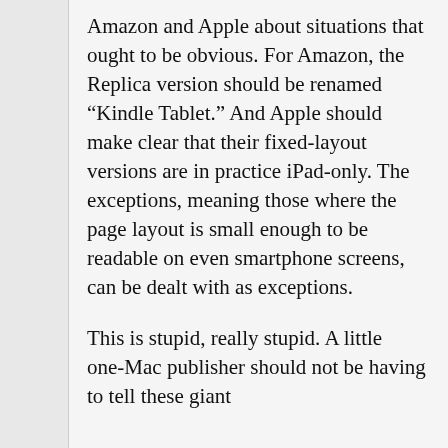Amazon and Apple about situations that ought to be obvious. For Amazon, the Replica version should be renamed “Kindle Tablet.” And Apple should make clear that their fixed-layout versions are in practice iPad-only. The exceptions, meaning those where the page layout is small enough to be readable on even smartphone screens, can be dealt with as exceptions.
This is stupid, really stupid. A little one-Mac publisher should not be having to tell these giant